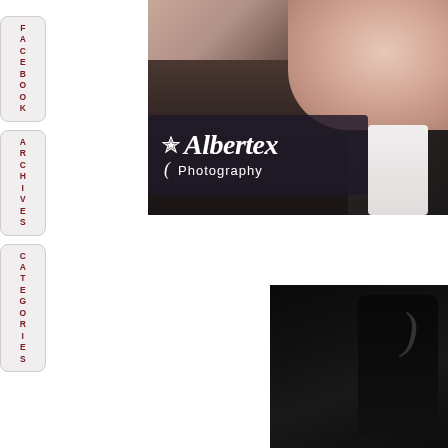[Figure (logo): Albertex Photography logo with star and cursive text on dark background overlay, on top of a photo of what appears to be a wedding/formal scene]
FACEBOOK
ARCHIVES
CATEGORIES
[Figure (photo): Close-up photograph of a dark formal suit/tuxedo, partially visible, against black background]